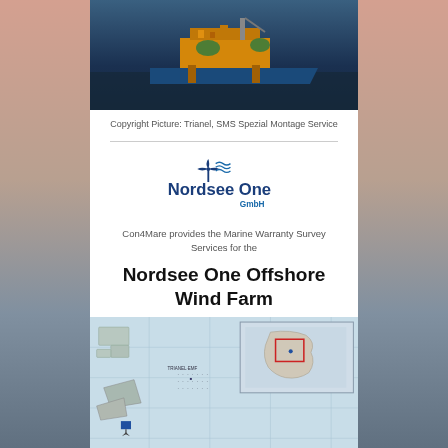[Figure (photo): Aerial photo of offshore oil/gas platform with blue vessel alongside, on open sea]
Copyright Picture: Trianel, SMS Spezial Montage Service
[Figure (logo): Nordsee One GmbH logo with wind turbine icon and wave motif above text]
Con4Mare provides the Marine Warranty Survey Services for the
Nordsee One Offshore Wind Farm
[Figure (map): Nautical/engineering map showing the Nordsee One offshore wind farm layout with turbine positions and a locator inset map]